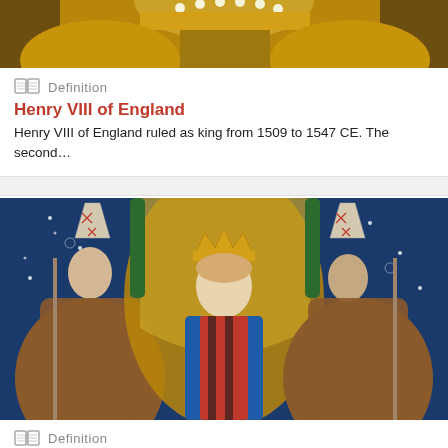[Figure (illustration): Top portion of a painting showing Henry VIII of England in ornate golden robes and jeweled crown, cropped at the top of the page]
Definition
Henry VIII of England
Henry VIII of England ruled as king from 1509 to 1547 CE. The second…
[Figure (illustration): Medieval illuminated manuscript style painting showing Henry III of England being crowned, flanked by two bishops wearing mitre hats, against a blue starry background with a golden arch]
Definition
Henry III of England
Henry III of England ruled from 1216 to 1272 CE. The son of